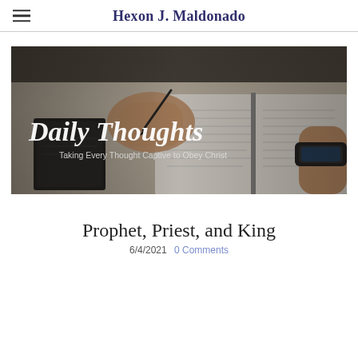Hexon J. Maldonado
[Figure (photo): Banner image showing hands writing in a book/Bible on a wooden table. Overlaid white italic text reads 'Daily Thoughts' with subtitle 'Taking Every Thought Captive to Obey Christ']
Prophet, Priest, and King
6/4/2021  0 Comments